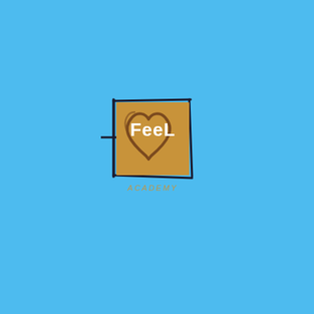[Figure (logo): FeeL Academy logo: a golden/tan square with a dark hand-drawn border frame, containing a brown heart outline and the white bold text 'FeeL' overlaid on it. Below the square the word 'ACADEMY' appears in small tan/gold italic letters.]